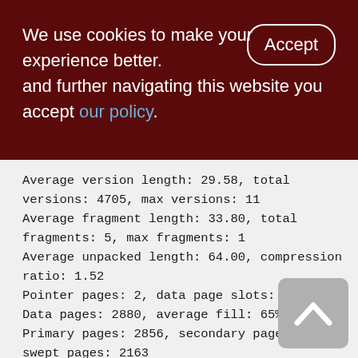We use cookies to make your experience better. By accepting and further navigating this website you accept our policy.
Average version length: 29.58, total versions: 4705, max versions: 11
Average fragment length: 33.80, total fragments: 5, max fragments: 1
Average unpacked length: 64.00, compression ratio: 1.52
Pointer pages: 2, data page slots: 2880
Data pages: 2880, average fill: 65%
Primary pages: 2856, secondary pages: 24, swept pages: 2163
Empty pages: 17, full pages: 940
Fill distribution: